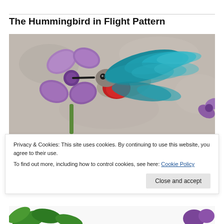The Hummingbird in Flight Pattern
[Figure (photo): Quilt appliqué of a hummingbird in flight approaching a purple flower, on a grey mottled background. The hummingbird has teal/blue wings and body with a red breast patch. The flower has purple petals.]
Privacy & Cookies: This site uses cookies. By continuing to use this website, you agree to their use.
To find out more, including how to control cookies, see here: Cookie Policy
[Figure (photo): Bottom strip showing partial view of green leaf/vine appliqué and purple flower elements on a white background.]